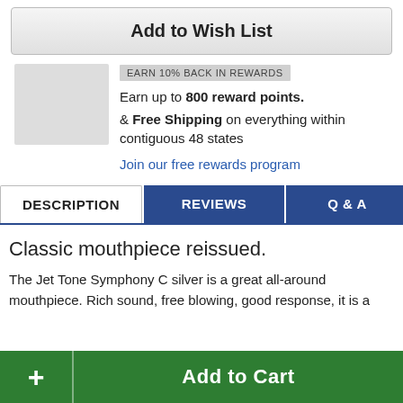Add to Wish List
EARN 10% BACK IN REWARDS
Earn up to 800 reward points. & Free Shipping on everything within contiguous 48 states
Join our free rewards program
DESCRIPTION
REVIEWS
Q & A
Classic mouthpiece reissued.
The Jet Tone Symphony C silver is a great all-around mouthpiece. Rich sound, free blowing, good response, it is a
+ Add to Cart